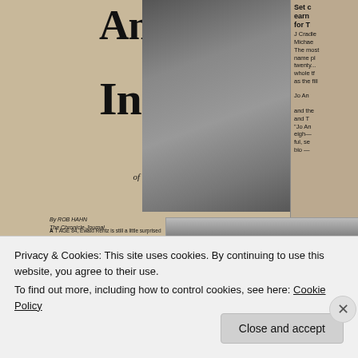Animator of the Inanimate
Everything 84-year-old Ewald Rentz of Beardmore carves comes from something he has seen or found in the bush
[Figure (photo): Newspaper article page showing Ewald Rentz seated with his wood carvings, and a photo of carved wooden figures/animals]
Ewald Rentz relaxes with one of his carvings
BY ROB HAHN
The Chronicle-Journal
AT AGE 84, Ewald Rentz is still a little surprised over being a celebrity in the local art community. "It's something new for me," he said with genuine modesty and a hint of amusement at having his completed wood carvings on display for public consumption at the Thunder Bay Art Gallery. That's because the local union tool-and-die grinder/inspector/foreman/meanderer/craftsman has very been able-to afford 'artist' in his list of titles in the past 30 years. And he never expected his fancy wood carvings to end.
Rentz says the outdoors provides an endless supply of inspiration for his subjects. Most of his life has been spent working in the bush and he's even transferred some of his experiences to his art. "It's the folksy nature, kind of primitive in his work and the perpetual good humor which lure that Dr. Henley's work popular." From England and Germany have bought his works, and he regularly gets person calls from all across Canada from people asking him to save a certain figure for them for which they came through Thunder...
The One That Got Away: Rentz never thought his brass wood carvings would attract so much attention
Privacy & Cookies: This site uses cookies. By continuing to use this website, you agree to their use.
To find out more, including how to control cookies, see here: Cookie Policy
Close and accept